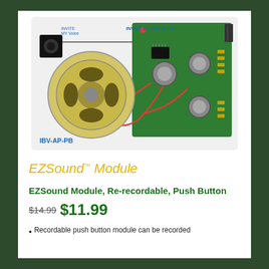[Figure (photo): Photo of EZSound Module (IBV-AP-PB) showing a green circuit board with electronic components, a round speaker, a push button, and red wires. The board is labeled 'INVITE BY VOICE LLC' and 'IBV-AP-PB'.]
EZSound™ Module
EZSound Module, Re-recordable, Push Button
$14.99 $11.99
Recordable push button module can be recorded